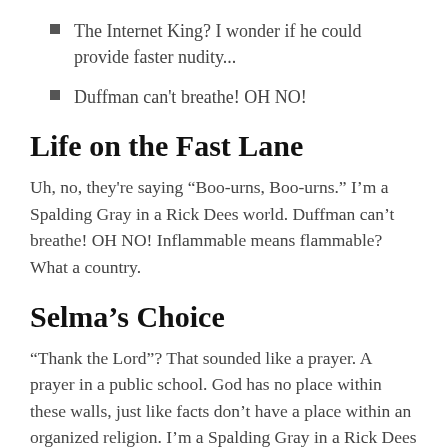The Internet King? I wonder if he could provide faster nudity...
Duffman can't breathe! OH NO!
Life on the Fast Lane
Uh, no, they're saying “Boo-urns, Boo-urns.” I’m a Spalding Gray in a Rick Dees world. Duffman can’t breathe! OH NO! Inflammable means flammable? What a country.
Selma’s Choice
“Thank the Lord”? That sounded like a prayer. A prayer in a public school. God has no place within these walls, just like facts don’t have a place within an organized religion. I’m a Spalding Gray in a Rick Dees world. I hope